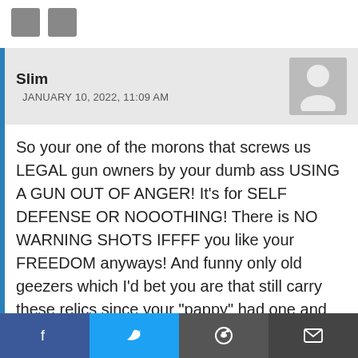navigation icons
Slim
JANUARY 10, 2022, 11:09 AM
So your one of the morons that screws us LEGAL gun owners by your dumb ass USING A GUN OUT OF ANGER! It’s for SELF DEFENSE OR NOOOTHING! There is NO WARNING SHOTS IFFFF you like your FREEDOM anyways! And funny only old geezers which I’d bet you are that still carry these relics since your “pappy” had one and when you were born they had just came out carrying well over chnology. What moron
f  🐦 (twitter)  reddit  email